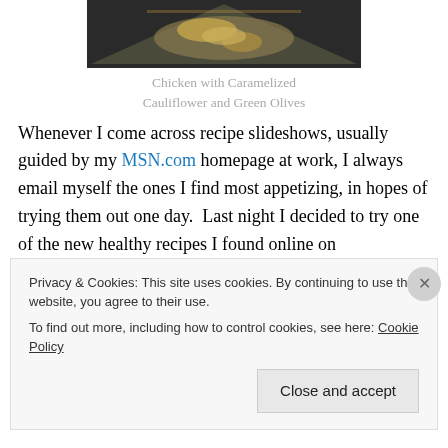[Figure (photo): Photo of Chicken with Caramelized Cauliflower and Green Olives in a baking dish, viewed from above]
Chicken with Caramelized Cauliflower and Green Olives
Whenever I come across recipe slideshows, usually guided by my MSN.com homepage at work, I always email myself the ones I find most appetizing, in hopes of trying them out one day.  Last night I decided to try one of the new healthy recipes I found online on Delish.com's 50 New Year's Resolution Eats, Chicken with Caramelized
Privacy & Cookies: This site uses cookies. By continuing to use this website, you agree to their use.
To find out more, including how to control cookies, see here: Cookie Policy